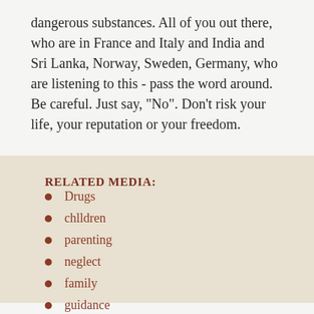dangerous substances. All of you out there, who are in France and Italy and India and Sri Lanka, Norway, Sweden, Germany, who are listening to this - pass the word around. Be careful. Just say, "No". Don't risk your life, your reputation or your freedom.
RELATED MEDIA:
Drugs
chlldren
parenting
neglect
family
guidance